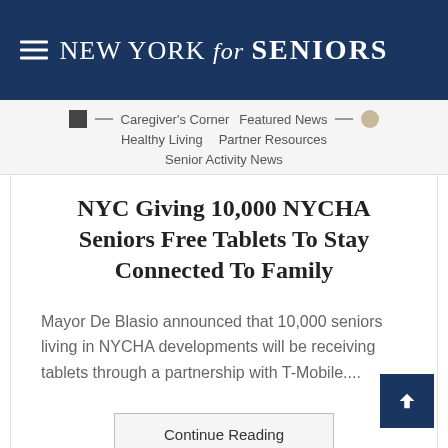NEW YORK for SENIORS
Caregiver's Corner  Featured News  Healthy Living  Partner Resources  Senior Activity News
NYC Giving 10,000 NYCHA Seniors Free Tablets To Stay Connected To Family
Mayor De Blasio announced that 10,000 seniors living in NYCHA developments will be receiving tablets through a partnership with T-Mobile....
Continue Reading